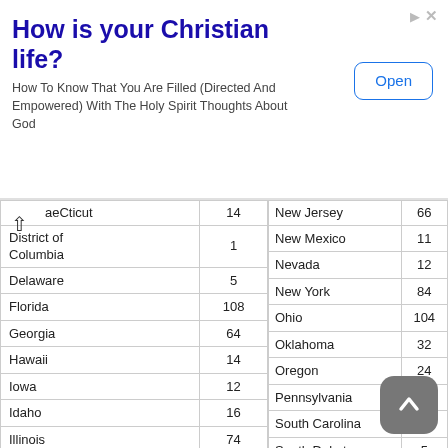[Figure (screenshot): Advertisement banner: 'How is your Christian life?' with subtitle and Open button]
| State | Count |
| --- | --- |
| aeCticut (Connecticut) | 14 |
| District of Columbia | 1 |
| Delaware | 5 |
| Florida | 108 |
| Georgia | 64 |
| Hawaii | 14 |
| Iowa | 12 |
| Idaho | 16 |
| Illinois | 74 |
| Indiana | 49 |
| Kansas | 11 |
| Kentucky | 14 |
| Louisiana | 40 |
| Massachusetts | 18 |
| Maryland | 16 |
| State | Count |
| --- | --- |
| New Jersey | 66 |
| New Mexico | 11 |
| Nevada | 12 |
| New York | 84 |
| Ohio | 104 |
| Oklahoma | 32 |
| Oregon | 24 |
| Pennsylvania | 68 |
| South Carolina | 24 |
| South Dakota | 5 |
| Tennessee | 33 |
| Texas | 80 |
| Utah |  |
| Virginia |  |
| Vermont | 3 |